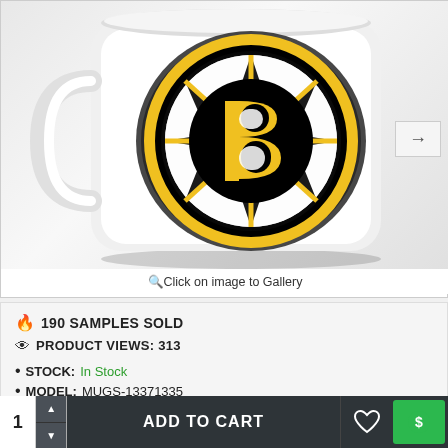[Figure (photo): White ceramic coffee mug featuring Boston Bruins NHL team logo — a black circle with gold 'B' letter and spoke pattern — displayed against a gray gradient background.]
🔍Click on image to Gallery
190 SAMPLES SOLD
PRODUCT VIEWS: 313
STOCK: In Stock
MODEL: MUGS-13371335